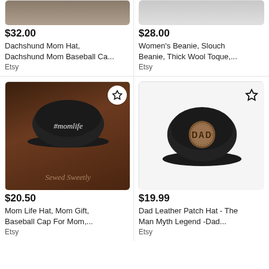[Figure (photo): Partial product image of Dachshund Mom Hat (top cropped)]
[Figure (photo): Partial product image of Women's Beanie (top cropped)]
$32.00
Dachshund Mom Hat, Dachshund Mom Baseball Ca...
Etsy
$28.00
Women's Beanie, Slouch Beanie, Thick Wool Toque,...
Etsy
[Figure (photo): Black baseball cap with '#momlife' script text, on wooden surface, with 'Sewed Sweetly' watermark, star bookmark icon]
[Figure (photo): Black baseball cap with round leather 'DAD' patch, on white background, star bookmark icon]
$20.50
Mom Life Hat, Mom Gift, Baseball Cap For Mom,...
Etsy
$19.99
Dad Leather Patch Hat - The Man Myth Legend -Dad...
Etsy